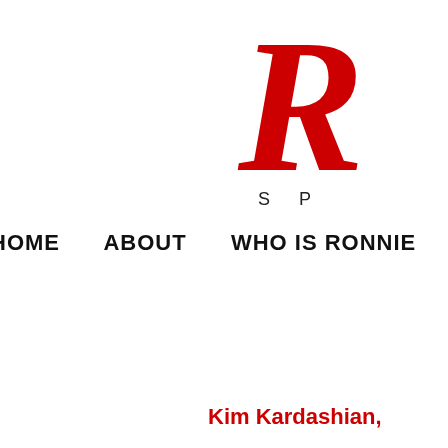[Figure (logo): Partial red cursive logo starting with 'R', with 'S P' text below in spaced black letters]
HOME   ABOUT   WHO IS RONNIE   KINDRE
Kim Kardashian,